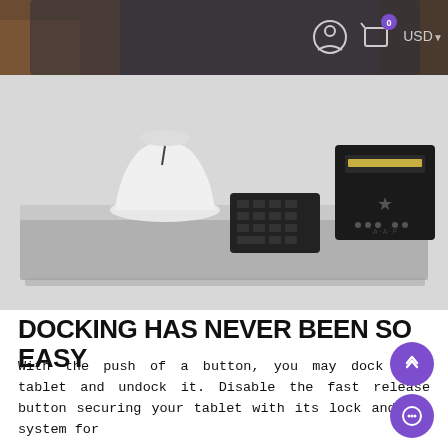[Figure (screenshot): Top section showing a UI bar with person icon, shopping cart icon with badge '0', and USD currency selector, overlaid on a dark background showing hands holding a tablet.]
[Figure (photo): Product photo of a white docking station platform on a desk, with a white conical device (tablet stand), a black numeric keypad, and a black receipt/thermal printer with a star logo on it.]
DOCKING HAS NEVER BEEN SO EASY
With the push of a button, you may dock your tablet and undock it. Disable the fast release button securing your tablet with its lock and key system for